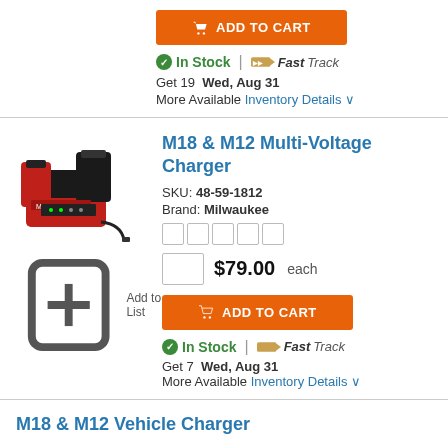ADD TO CART
In Stock | FastTrack
Get 19  Wed, Aug 31
More Available  Inventory Details
M18 & M12 Multi-Voltage Charger
SKU: 48-59-1812
Brand: Milwaukee
$79.00 each
ADD TO CART
In Stock | FastTrack
Get 7  Wed, Aug 31
More Available  Inventory Details
M18 & M12 Vehicle Charger